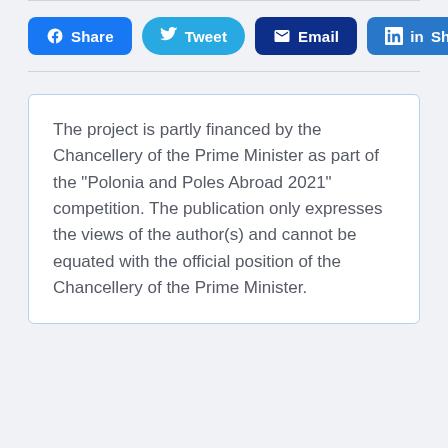[Figure (other): Social sharing buttons: Facebook Share, Tweet, Email, LinkedIn Share]
The project is partly financed by the Chancellery of the Prime Minister as part of the "Polonia and Poles Abroad 2021" competition. The publication only expresses the views of the author(s) and cannot be equated with the official position of the Chancellery of the Prime Minister.